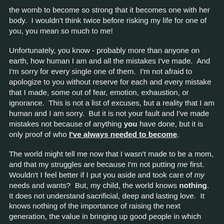the womb to become so strong that it becomes one with her body.  I wouldn't think twice before risking my life for one of you, you mean so much to me!
Unfortunately, you know - probably more than anyone on earth, how human I am and all the mistakes I've made.  And I'm sorry for every single one of them.  I'm not afraid to apologize to you without reserve for each and every mistake that I made, some out of fear, emotion, exhaustion, or ignorance.  This is not a list of excuses, but a reality that I am human and I am sorry.  But it is not your fault and I've made mistakes not because of anything you have done, but it is only proof of who I've always needed to become.
The world might tell me now that I wasn't made to be a mom, and that my struggles are because I'm not putting me first.  Wouldn't I feel better if I put you aside and took care of my needs and wants?  But, my child, the world knows nothing.  It does not understand sacrificial, deep and lasting love.  It knows nothing of the importance of raising the next generation, the value in bringing up good people in which our future is held.  I can't imagine a more worthwhile or